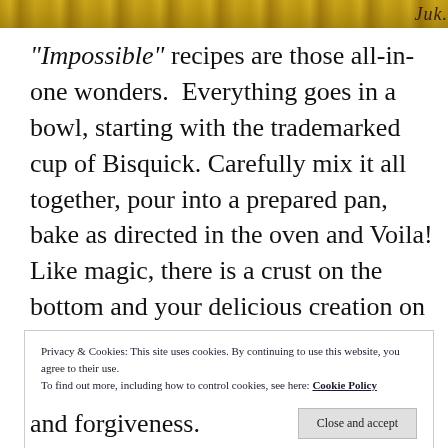[Figure (photo): Partial photo of a food item with yellow/golden coloring, cropped at top of page]
"Impossible" recipes are those all-in-one wonders.  Everything goes in a bowl, starting with the trademarked cup of Bisquick. Carefully mix it all together, pour into a prepared pan, bake as directed in the oven and Voila! Like magic, there is a crust on the bottom and your delicious creation on top. The Bisquick does the impossible.
Privacy & Cookies: This site uses cookies. By continuing to use this website, you agree to their use.
To find out more, including how to control cookies, see here: Cookie Policy
and forgiveness.